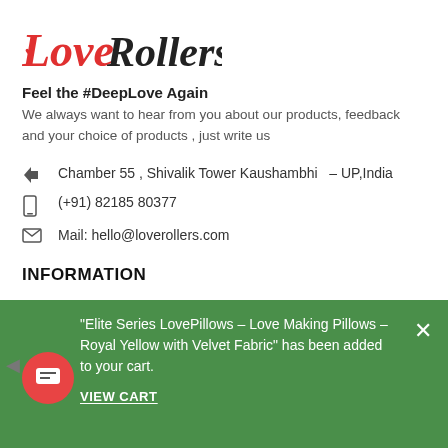[Figure (logo): LoveRollers logo with heart icon and stylized text]
Feel the #DeepLove Again
We always want to hear from you about our products, feedback and your choice of products , just write us
Chamber 55 , Shivalik Tower Kaushambhi – UP,India
(+91) 82185 80377
Mail: hello@loverollers.com
INFORMATION
About Us
Blog
"Elite Series LovePillows – Love Making Pillows – Royal Yellow with Velvet Fabric" has been added to your cart.
VIEW CART